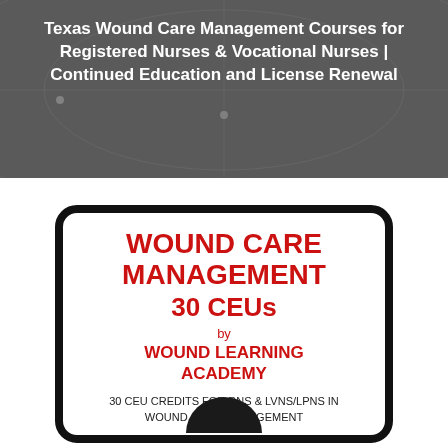Texas Wound Care Management Courses for Registered Nurses & Vocational Nurses | Continued Education and License Renewal
[Figure (illustration): Book cover image with rounded rectangle border showing 'WOUND CARE MANAGEMENT 30 CEUs by WOUND LEARNING ACADEMY' in red bold text, with '30 CEU CREDITS FOR RNs & LVNs/LPNs IN WOUND CARE MANAGEMENT' in smaller black text, and a partial circular graphic at the bottom.]